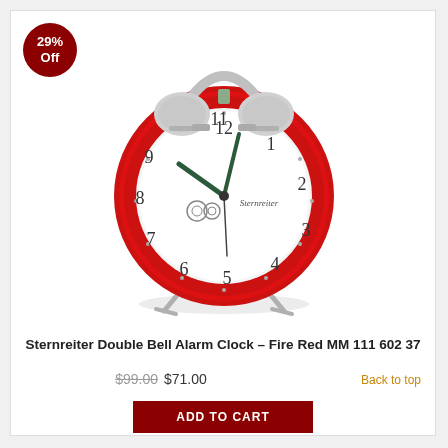[Figure (photo): Red double bell alarm clock (Sternreiter) with silver bells on top, white clock face showing numbers 1-12 and clock hands, chrome legs/stand, white background. A dark red circular badge in the top-left corner reads '29% Off'.]
Sternreiter Double Bell Alarm Clock – Fire Red MM 111 602 37
$99.00 $71.00
Back to top
ADD TO CART